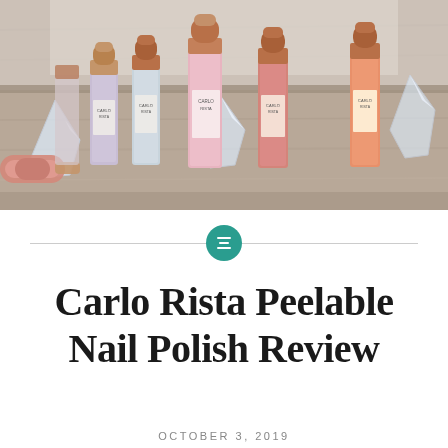[Figure (photo): Several Carlo Rista nail polish bottles with rose gold caps in various colors (lavender, light blue, pink, coral/salmon, orange) arranged on a wooden surface with crystal quartz stones and a rose gold facial roller.]
Carlo Rista Peelable Nail Polish Review
OCTOBER 3, 2019